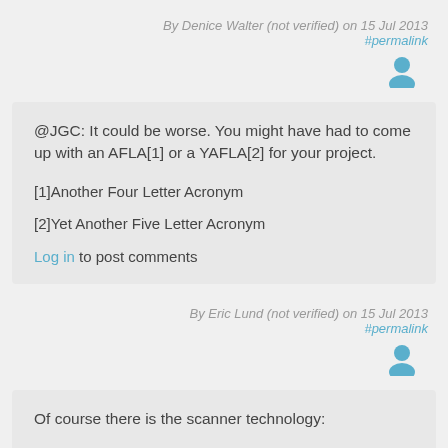By Denice Walter (not verified) on 15 Jul 2013
#permalink
[Figure (illustration): User avatar icon (person silhouette in teal/blue)]
@JGC: It could be worse. You might have had to come up with an AFLA[1] or a YAFLA[2] for your project.

[1]Another Four Letter Acronym
[2]Yet Another Five Letter Acronym

Log in to post comments
By Eric Lund (not verified) on 15 Jul 2013
#permalink
[Figure (illustration): User avatar icon (person silhouette in teal/blue)]
Of course there is the scanner technology: